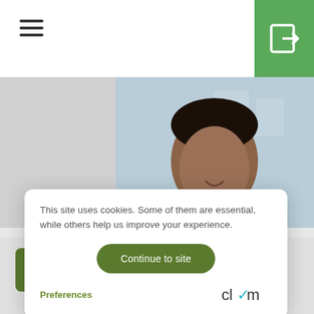[Figure (screenshot): Navigation bar with hamburger menu icon on left and green login button with arrow icon on right]
[Figure (photo): Professional headshot of a man in a dark suit against a blurred office background]
This site uses cookies. Some of them are essential, while others help us improve your experience.
Continue to site
Preferences
[Figure (logo): Clym logo in dark text with teal checkmark]
Partner at ZNL Ventures and founder of Predikly, a Data Innovation and Automation Solutions company. A proven